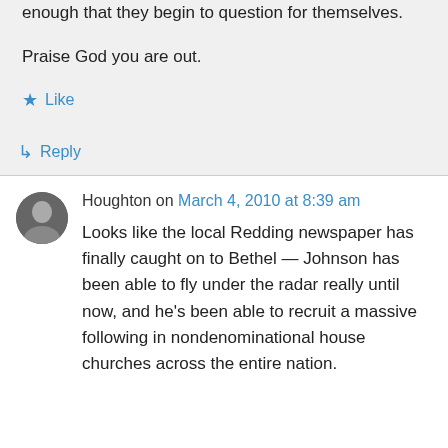enough that they begin to question for themselves.
Praise God you are out.
★ Like
↳ Reply
Houghton on March 4, 2010 at 8:39 am
Looks like the local Redding newspaper has finally caught on to Bethel — Johnson has been able to fly under the radar really until now, and he's been able to recruit a massive following in nondenominational house churches across the entire nation.